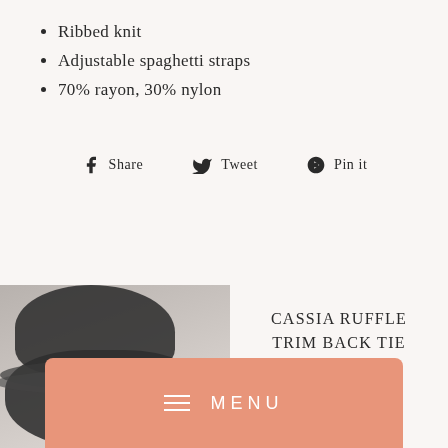Ribbed knit
Adjustable spaghetti straps
70% rayon, 30% nylon
Share  Tweet  Pin it
[Figure (photo): Person wearing a dark ruffle trim top, partial view showing upper body and hair]
CASSIA RUFFLE TRIM BACK TIE TOP, AZURE
$45.00
MENU